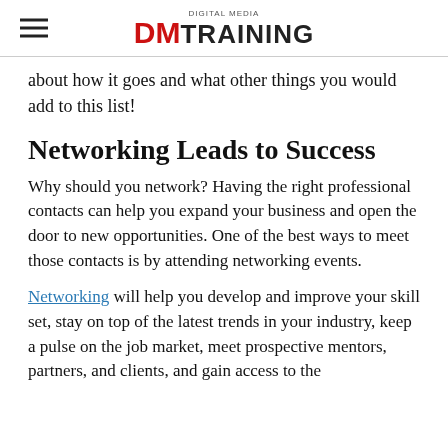DIGITAL MEDIA DM TRAINING
about how it goes and what other things you would add to this list!
Networking Leads to Success
Why should you network? Having the right professional contacts can help you expand your business and open the door to new opportunities. One of the best ways to meet those contacts is by attending networking events.
Networking will help you develop and improve your skill set, stay on top of the latest trends in your industry, keep a pulse on the job market, meet prospective mentors, partners, and clients, and gain access to the